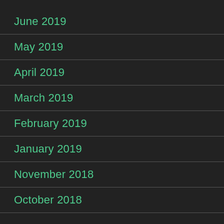June 2019
May 2019
April 2019
March 2019
February 2019
January 2019
November 2018
October 2018